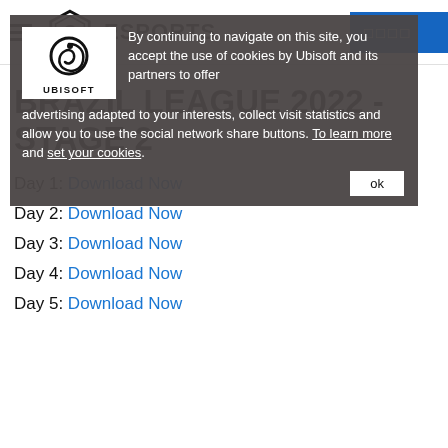G ESPORTS
BRAZIL LEAGUE 2022 - STAGE 2
Day 1: Download Now
Day 2: Download Now
Day 3: Download Now
Day 4: Download Now
Day 5: Download Now
By continuing to navigate on this site, you accept the use of cookies by Ubisoft and its partners to offer advertising adapted to your interests, collect visit statistics and allow you to use the social network share buttons. To learn more and set your cookies.